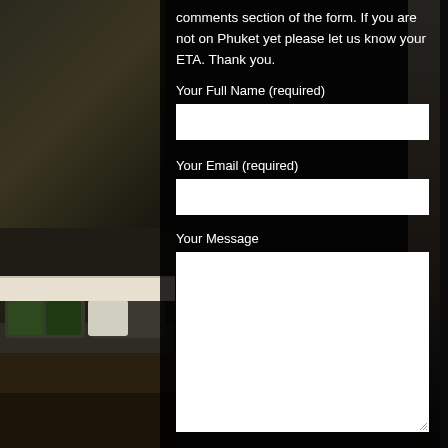[Figure (photo): Dark luxury hotel bedroom with green tropical leaf pillows on a bed, dark walls and flooring, curtains visible on the right side. The image serves as a background behind a semi-transparent form overlay.]
comments section of the form. If you are not on Phuket yet please let us know your ETA. Thank you.
Your Full Name (required)
Your Email (required)
Your Message